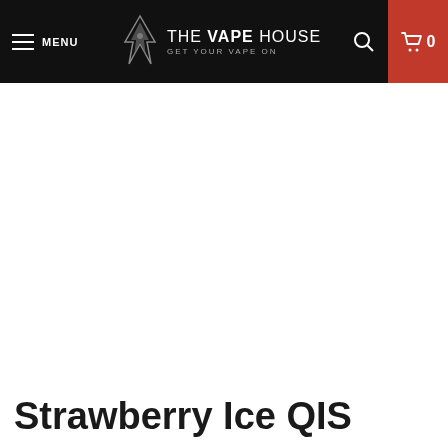MENU | THE VAPE HOUSE GET YOUR VAPE ON | 0
Strawberry Ice QIS